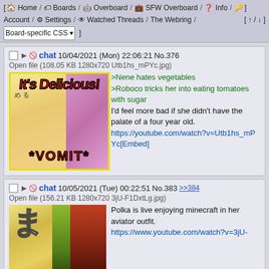[ Home / Boards / Overboard / SFW Overboard / Info / Account / Settings / Watched Threads / The Webring / Board-specific CSS ] [ ↑ / ↓ ]
chat 10/04/2021 (Mon) 22:06:21 No.376
Open file (108.05 KB 1280x720 Utb1hs_mPYc.jpg)
>Nene hates vegetables
>Roboco tricks her into eating tomatoes with sugar
I'd feel more bad if she didn't have the palate of a four year old.
https://youtube.com/watch?v=Utb1hs_mPYc[Embed]
[Figure (illustration): Anime thumbnail image with yellow border, text 'It's Delicious!' at top in red, '*VOMIT*' at bottom in red, Japanese characters on left side, two anime girls]
chat 10/05/2021 (Tue) 00:22:51 No.383 >>384
Open file (156.21 KB 1280x720 3jU-F1DxtLg.jpg)
Polka is live enjoying minecraft in her aviator outfit.
https://www.youtube.com/watch?v=3jU-